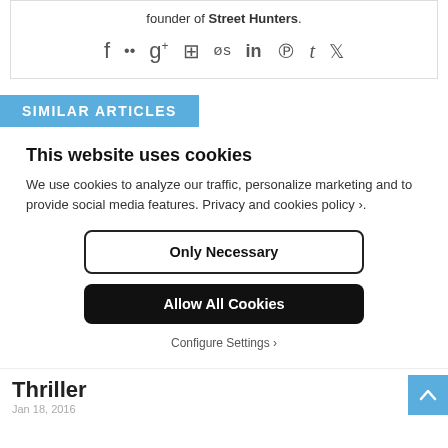founder of Street Hunters.
[Figure (infographic): Social media icons row: Facebook, Flickr, Google+, Instagram, Last.fm, LinkedIn, Pinterest, Tumblr, Twitter]
SIMILAR ARTICLES
This website uses cookies
We use cookies to analyze our traffic, personalize marketing and to provide social media features. Privacy and cookies policy ›.
Only Necessary
Allow All Cookies
Configure Settings ›
Thriller
Jan 18, 2016